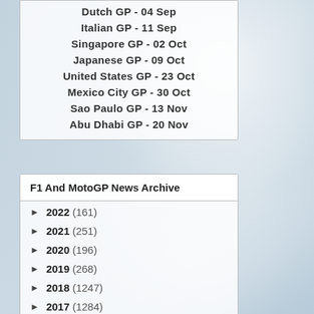Dutch GP - 04 Sep
Italian GP - 11 Sep
Singapore GP - 02 Oct
Japanese GP - 09 Oct
United States GP - 23 Oct
Mexico City GP - 30 Oct
Sao Paulo GP - 13 Nov
Abu Dhabi GP - 20 Nov
F1 And MotoGP News Archive
► 2022 (161)
► 2021 (251)
► 2020 (196)
► 2019 (268)
► 2018 (1247)
► 2017 (1284)
► 2016 (1112)
► 2015 (1238)